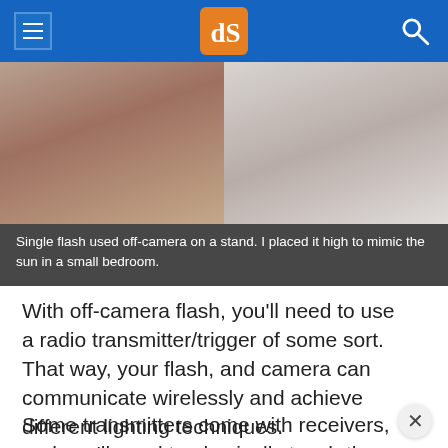dPS (Digital Photography School)
[Figure (photo): Two photos side by side: left shows a woman with jewelry and green gemstone necklace, right shows a woman in a black swimsuit against a light background, shot with off-camera flash.]
Single flash used off-camera on a stand. I placed it high to mimic the sun in a small bedroom.
With off-camera flash, you'll need to use a radio transmitter/trigger of some sort. That way, your flash, and camera can communicate wirelessly and achieve different lighting techniques.
Some transmitters come with receivers, and you'll need to physically touch the flash to